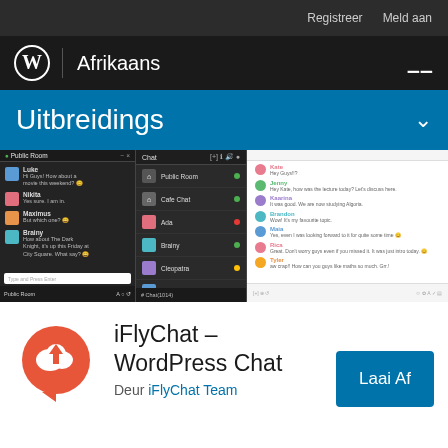Registreer   Meld aan
Afrikaans
Uitbreidings
[Figure (screenshot): Screenshot of iFlyChat WordPress plugin showing chat interface with Public Room, contact list, and conversation panel]
iFlyChat – WordPress Chat
Deur iFlyChat Team
Laai Af